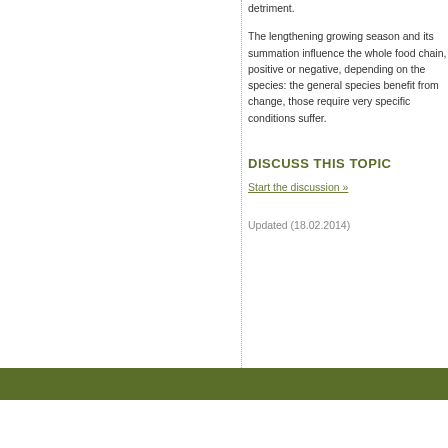detriment.
The lengthening growing season and its summation influence the whole food chain, positive or negative, depending on the species: the general species benefit from change, those require very specific conditions suffer.
DISCUSS THIS TOPIC
Start the discussion »
Updated (18.02.2014)